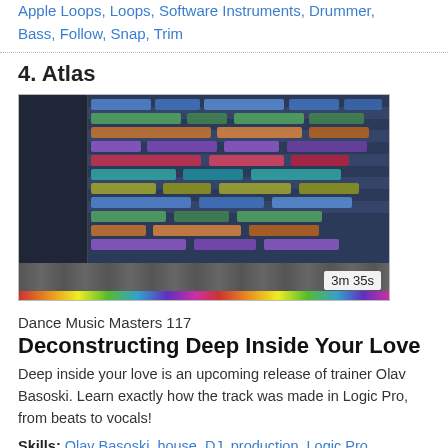Apple Loops, Loops, Software Instruments, Drummer, Bass, Follow, Snap, Trim
4. Atlas
[Figure (screenshot): Screenshot of a DAW (Logic Pro) showing a multi-track arrangement with colored blocks, mixer faders, and a color bar at the bottom. Duration badge shows 3m 35s.]
Dance Music Masters 117
Deconstructing Deep Inside Your Love
Deep inside your love is an upcoming release of trainer Olav Basoski. Learn exactly how the track was made in Logic Pro, from beats to vocals!
Skills: Olav Basoski, house, DJ, production, Logic Pro, housemusic, piano, beats, Logic Pro, deconstruction, Atlas, kickdrum, bass dum, random
1. Intro
[Figure (screenshot): Dark screenshot showing a person or equipment in low light conditions, partially visible.]